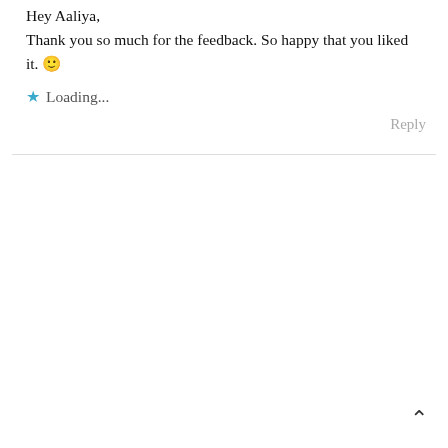Hey Aaliya,
Thank you so much for the feedback. So happy that you liked it. 🙂
★ Loading...
Reply
^